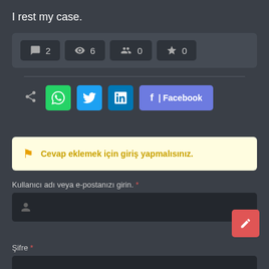I rest my case.
[Figure (screenshot): Stats bar with icons: comment (2), eye (6), people (0), star (0)]
[Figure (infographic): Share row with share icon, WhatsApp, Twitter, LinkedIn, Facebook buttons]
Cevap eklemek için giriş yapmalısınız.
Kullanıcı adı veya e-postanızı girin. *
Şifre *